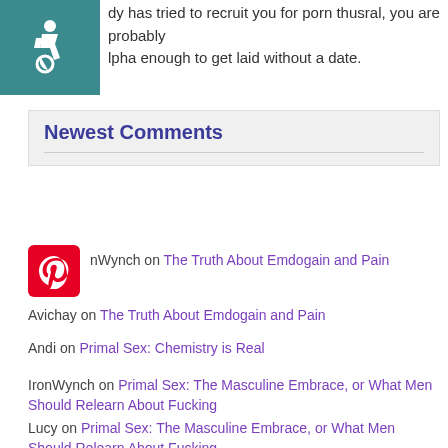[Figure (logo): Accessibility icon — white wheelchair symbol on teal background]
dy has tried to recruit you for porn thusral, you are probably lpha enough to get laid without a date.
Newest Comments
IronWynch on The Truth About Emdogain and Pain
Avichay on The Truth About Emdogain and Pain
Andi on Primal Sex: Chemistry is Real
IronWynch on Primal Sex: The Masculine Embrace, or What Men Should Relearn About Fucking
Lucy on Primal Sex: The Masculine Embrace, or What Men Should Relearn About Fucking
Latest Posts
Julia Levander Drew Yautja Cloth Sculpture Start to Finish